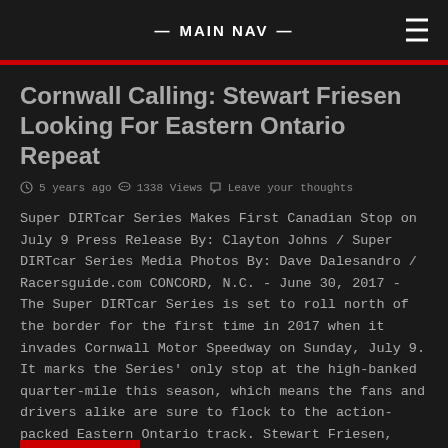— MAIN NAV —
Cornwall Calling: Stewart Friesen Looking For Eastern Ontario Repeat
5 years ago  1338 Views  Leave your thoughts
Super DIRTcar Series Makes First Canadian Stop on July 9 Press Release By: Clayton Johns / Super DIRTcar Series Media Photos By: Dave Dalesandro / Racersguide.com CONCORD, N.C. - June 30, 2017 - The Super DIRTcar Series is set to roll north of the border for the first time in 2017 when it invades Cornwall Motor Speedway on Sunday, July 9. It marks the Series' only stop at the high-banked quarter-mile this season, which means the fans and drivers alike are sure to flock to the action-packed Eastern Ontario track. Stewart Friesen, originally from Niagara-on-the-Lake, ON and now residing in…